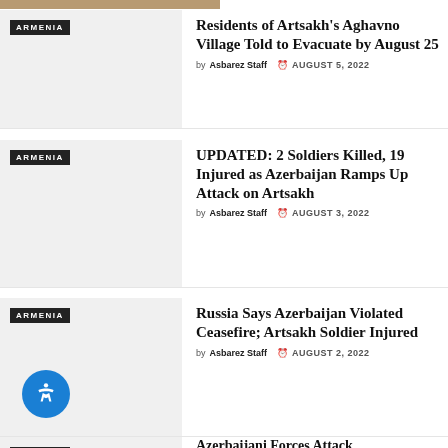[Figure (photo): Partial top image visible at the top of the page]
ARMENIA tag | Residents of Artsakh's Aghavno Village Told to Evacuate by August 25 | by Asbarez Staff | AUGUST 5, 2022
ARMENIA tag | UPDATED: 2 Soldiers Killed, 19 Injured as Azerbaijan Ramps Up Attack on Artsakh | by Asbarez Staff | AUGUST 3, 2022
ARMENIA tag | Russia Says Azerbaijan Violated Ceasefire; Artsakh Soldier Injured | by Asbarez Staff | AUGUST 2, 2022
ARMENIA tag | Azerbaijani Forces Attack